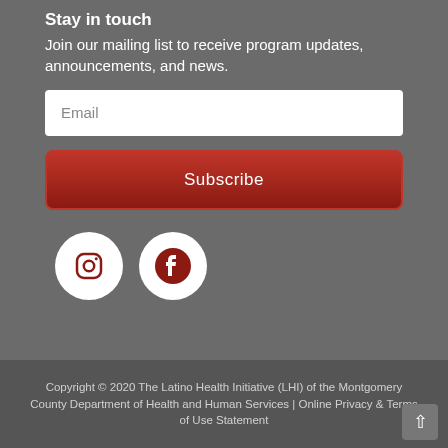Stay in touch
Join our mailing list to receive program updates, announcements, and news.
Email
Subscribe
[Figure (illustration): Instagram icon (white circle with dark red Instagram logo)]
[Figure (illustration): Facebook icon (white circle with dark red Facebook 'f' logo)]
Copyright © 2020 The Latino Health Initiative (LHI) of the Montgomery County Department of Health and Human Services | Online Privacy & Terms of Use Statement